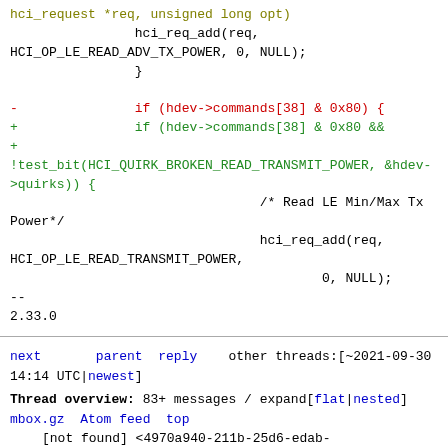hci_request *req, unsigned long opt)
                hci_req_add(req,
HCI_OP_LE_READ_ADV_TX_POWER, 0, NULL);
                }

-               if (hdev->commands[38] & 0x80) {
+               if (hdev->commands[38] & 0x80 &&
+
!test_bit(HCI_QUIRK_BROKEN_READ_TRANSMIT_POWER, &hdev->quirks)) {
                                /* Read LE Min/Max Tx Power*/
                                hci_req_add(req,
HCI_OP_LE_READ_TRANSMIT_POWER,
                                        0, NULL);
--
2.33.0
next      parent reply   other threads:[~2021-09-30 14:14 UTC|newest]
Thread overview: 83+ messages / expand[flat|nested]
mbox.gz  Atom feed  top
    [not found] <4970a940-211b-25d6-edab-21a815313954@protonmail.com>
    [not found] ` <20210930063106.19881-1-redecorating@protonmail.com>
2021-09-30 14:13   ` Orlando Chamberlain [this message]